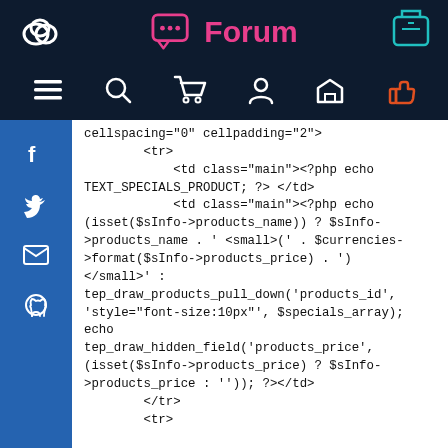Forum
cellspacing="0" cellpadding="2">
            <tr>
                <td class="main"><?php echo TEXT_SPECIALS_PRODUCT; ?> </td>
                <td class="main"><?php echo
(isset($sInfo->products_name)) ? $sInfo->products_name . ' <small>(' . $currencies->format($sInfo->products_price) . ') </small>' :
tep_draw_products_pull_down('products_id', 'style="font-size:10px"', $specials_array); echo
tep_draw_hidden_field('products_price', (isset($sInfo->products_price) ? $sInfo->products_price : '')); ?></td>
            </tr>
            <tr>